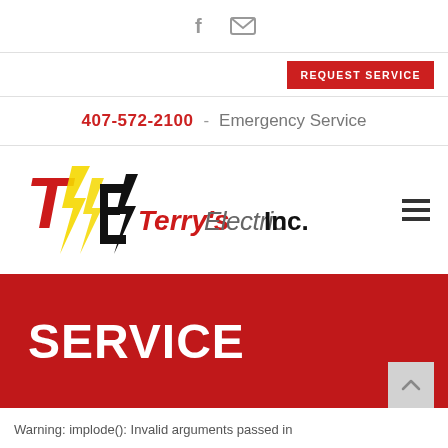f [facebook icon] [email icon]
REQUEST SERVICE
407-572-2100 - Emergency Service
[Figure (logo): Terry's Electric Inc. logo with red T, yellow lightning bolts, black E and lightning bolt, and stylized text 'Terry's Electric Inc.']
SERVICE
Warning: implode(): Invalid arguments passed in